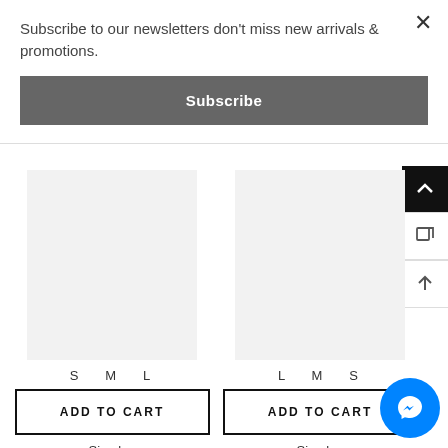Subscribe to our newsletters don't miss new arrivals & promotions.
Subscribe
×
S  M  L
ADD TO CART
Simplee
Simplee Vintage striped wome...
$1,286.71
L  M  S
ADD TO CART
Simplee
Simplee Summer V-neck short...
$23.75